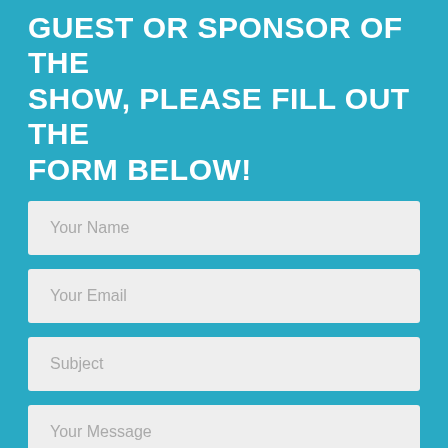GUEST OR SPONSOR OF THE SHOW, PLEASE FILL OUT THE FORM BELOW!
Your Name
Your Email
Subject
Your Message